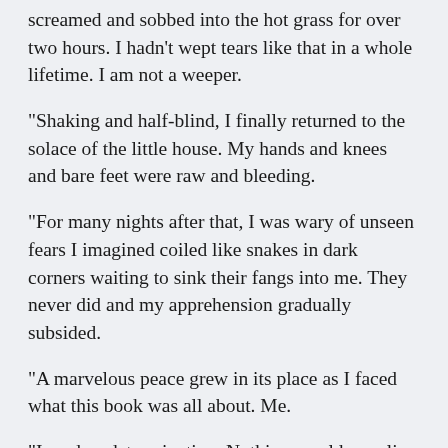screamed and sobbed into the hot grass for over two hours. I hadn't wept tears like that in a whole lifetime. I am not a weeper.
"Shaking and half-blind, I finally returned to the solace of the little house. My hands and knees and bare feet were raw and bleeding.
"For many nights after that, I was wary of unseen fears I imagined coiled like snakes in dark corners waiting to sink their fangs into me. They never did and my apprehension gradually subsided.
"A marvelous peace grew in its place as I faced what this book was all about. Me.
"I made a determination. Nothing would ever lie buried in the center of me to rise and strike me down with such ferocity.